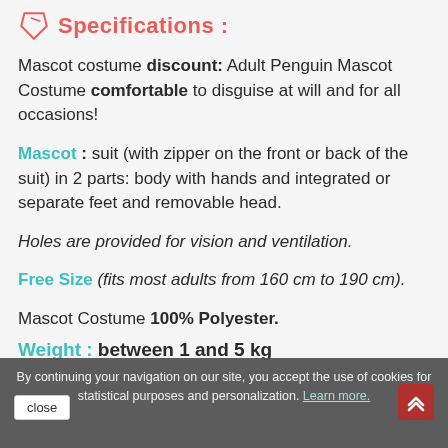Specifications :
Mascot costume discount: Adult Penguin Mascot Costume comfortable to disguise at will and for all occasions!
Mascot : suit (with zipper on the front or back of the suit) in 2 parts: body with hands and integrated or separate feet and removable head.
Holes are provided for vision and ventilation.
Free Size (fits most adults from 160 cm to 190 cm).
Mascot Costume 100% Polyester.
Weight : between 1 and 5 kg
By continuing your navigation on our site, you accept the use of cookies for statistical purposes and personalization. Learn more.